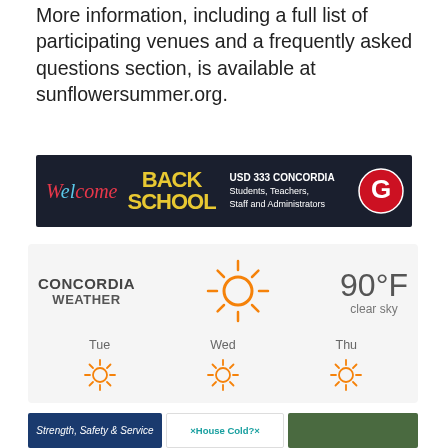More information, including a full list of participating venues and a frequently asked questions section, is available at sunflowersummer.org.
[Figure (infographic): Back to school banner ad: 'Welcome Back to School USD 333 Concordia Students, Teachers, Staff and Administrators' on dark background with school mascot logo]
[Figure (infographic): Weather widget showing CONCORDIA WEATHER, sun icon, 90°F clear sky, with forecast for Tue, Wed, Thu all showing sun icons]
[Figure (infographic): Three bottom banner ads: 'Strength, Safety & Service', 'House Cold?', and an aerial photo]